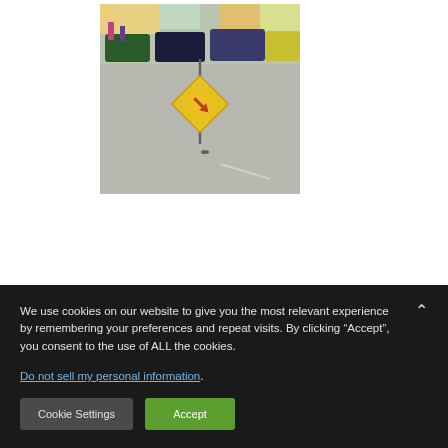[Figure (photo): Outdoor photo of a parking lot or market area. A yellow diamond-shaped warning sign is visible in the foreground hanging from a pole. Cars, people, and market stalls are visible in the background.]
We use cookies on our website to give you the most relevant experience by remembering your preferences and repeat visits. By clicking “Accept”, you consent to the use of ALL the cookies.
Do not sell my personal information.
Cookie Settings
Accept